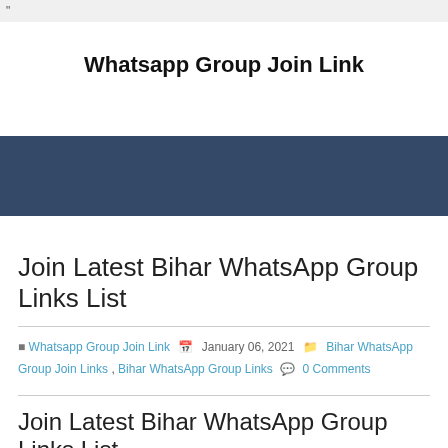"
Whatsapp Group Join Link
[Figure (other): Dark blue/navy banner strip]
Join Latest Bihar WhatsApp Group Links List
Whatsapp Group Join Link  January 06, 2021  Bihar WhatsApp Group Join Links , Bihar WhatsApp Group Links  0 Comments
Join Latest Bihar WhatsApp Group Links List